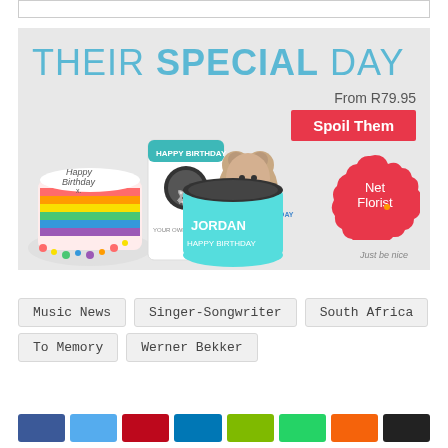[Figure (illustration): Top bar / search bar placeholder (white box with border)]
[Figure (infographic): Net Florist advertisement banner with headline 'THEIR SPECIAL DAY', birthday gifts (rainbow cake, mug, teddy bear, hat box labeled JORDAN), 'From R79.95', red button 'Spoil Them', Net Florist logo bubble, tagline 'Just be nice']
Music News
Singer-Songwriter
South Africa
To Memory
Werner Bekker
[Figure (infographic): Row of social media share buttons: Facebook (blue), Twitter (light blue), Pinterest (red), LinkedIn (dark blue), email (green), WhatsApp (green), orange, black]